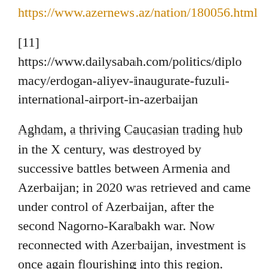https://www.azernews.az/nation/180056.html
[11] https://www.dailysabah.com/politics/diplomacy/erdogan-aliyev-inaugurate-fuzuli-international-airport-in-azerbaijan
Aghdam, a thriving Caucasian trading hub in the X century, was destroyed by successive battles between Armenia and Azerbaijan; in 2020 was retrieved and came under control of Azerbaijan, after the second Nagorno-Karabakh war. Now reconnected with Azerbaijan, investment is once again flourishing into this region.  Aghdam city is being redeveloped from its tragic ruins, and an industrial park is being developed.  Five Azerbaijan's businesses are already registered as the park's residents.  Dadash-N LLC, will manufacture a variety of synthetic carpets as part of a project to be